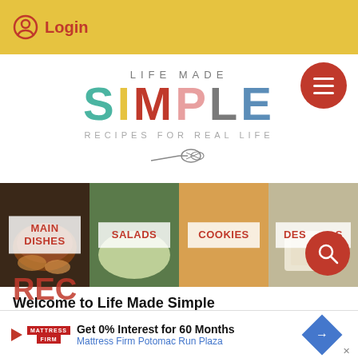Login
[Figure (logo): Life Made Simple logo with colorful letters and whisk illustration, subtitle: Recipes for Real Life]
[Figure (infographic): Four food category panels: Main Dishes, Salads, Cookies, Desserts with food photography backgrounds]
Welcome to Life Made Simple
[Figure (screenshot): Ad banner: Get 0% Interest for 60 Months - Mattress Firm Potomac Run Plaza]